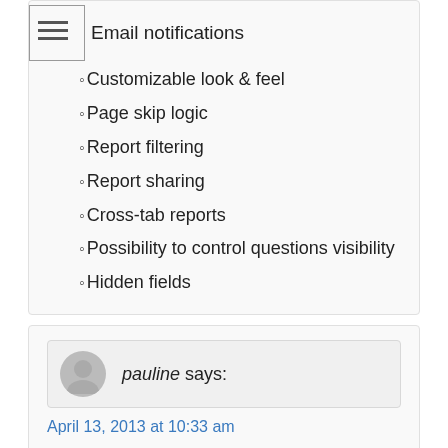Email notifications
Customizable look & feel
Page skip logic
Report filtering
Report sharing
Cross-tab reports
Possibility to control questions visibility
Hidden fields
pauline says:
April 13, 2013 at 10:33 am
I registered with survey expression based on this review only to find all the things I need are disappearing in 2 days. They are still advertising that they are best free site as per your survey which seems like false advertising to me. I will not be